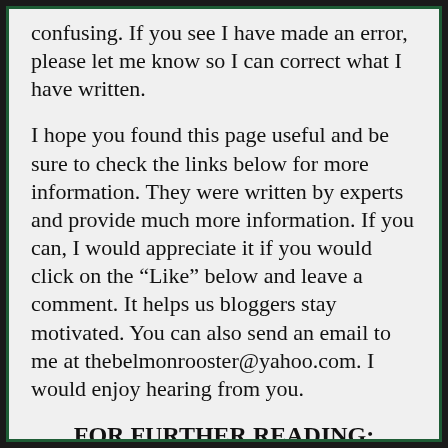confusing. If you see I have made an error, please let me know so I can correct what I have written.
I hope you found this page useful and be sure to check the links below for more information. They were written by experts and provide much more information. If you can, I would appreciate it if you would click on the “Like” below and leave a comment. It helps us bloggers stay motivated. You can also send an email to me at thebelmonrooster@yahoo.com. I would enjoy hearing from you.
FOR FURTHER READING:
PLANTS OF THE WORLD